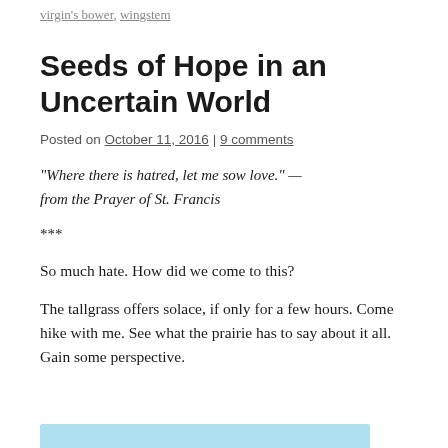virgin's bower, wingstem
Seeds of Hope in an Uncertain World
Posted on October 11, 2016 | 9 comments
“Where there is hatred, let me sow love.” — from the Prayer of St. Francis
***
So much hate. How did we come to this?
The tallgrass offers solace, if only for a few hours. Come hike with me.  See what the prairie has to say about it all. Gain some perspective.
[Figure (photo): Partial view of a photo with light blue/teal tones at the bottom of the page]